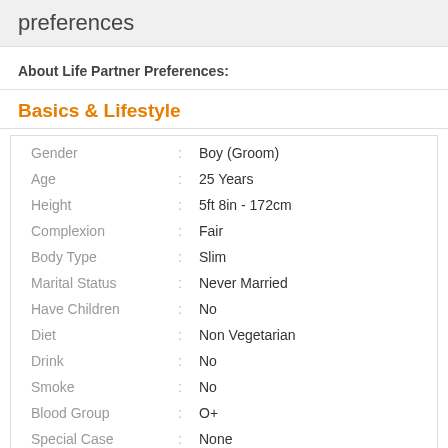preferences
About Life Partner Preferences:
Basics & Lifestyle
| Field |  | Value |
| --- | --- | --- |
| Gender | : | Boy (Groom) |
| Age | : | 25 Years |
| Height | : | 5ft 8in - 172cm |
| Complexion | : | Fair |
| Body Type | : | Slim |
| Marital Status | : | Never Married |
| Have Children | : | No |
| Diet | : | Non Vegetarian |
| Drink | : | No |
| Smoke | : | No |
| Blood Group | : | O+ |
| Special Case | : | None |